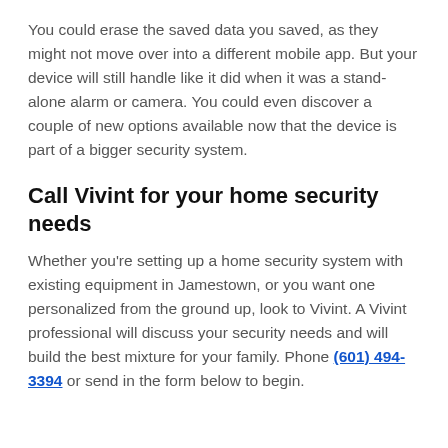You could erase the saved data you saved, as they might not move over into a different mobile app. But your device will still handle like it did when it was a stand-alone alarm or camera. You could even discover a couple of new options available now that the device is part of a bigger security system.
Call Vivint for your home security needs
Whether you're setting up a home security system with existing equipment in Jamestown, or you want one personalized from the ground up, look to Vivint. A Vivint professional will discuss your security needs and will build the best mixture for your family. Phone (601) 494-3394 or send in the form below to begin.